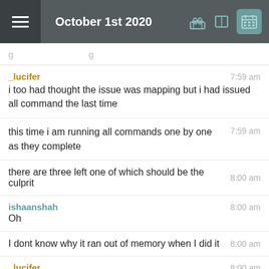October 1st 2020
_lucifer 7:59 am
i too had thought the issue was mapping but i had issued all command the last time
this time i am running all commands one by one as they complete 7:59 am
there are three left one of which should be the culprit 8:00 am
ishaanshah 8:00 am
Oh
I dont know why it ran out of memory when I did it 8:00 am
_lucifer 8:00 am
how many listens did you have?